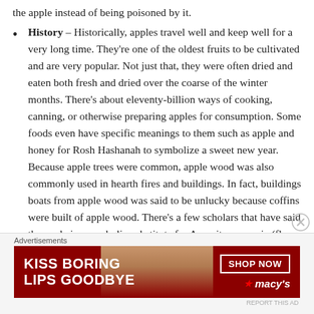the apple instead of being poisoned by it.
History – Historically, apples travel well and keep well for a very long time. They're one of the oldest fruits to be cultivated and are very popular. Not just that, they were often dried and eaten both fresh and dried over the coarse of the winter months. There's about eleventy-billion ways of cooking, canning, or otherwise preparing apples for consumption. Some foods even have specific meanings to them such as apple and honey for Rosh Hashanah to symbolize a sweet new year. Because apple trees were common, apple wood was also commonly used in hearth fires and buildings. In fact, buildings boats from apple wood was said to be unlucky because coffins were built of apple wood. There's a few scholars that have said the apple is a symbolic substitute for Amanita muscaria (fly agaric
[Figure (other): Advertisement banner for Macy's with text 'KISS BORING LIPS GOODBYE' and 'SHOP NOW' button, featuring a woman's face]
Advertisements